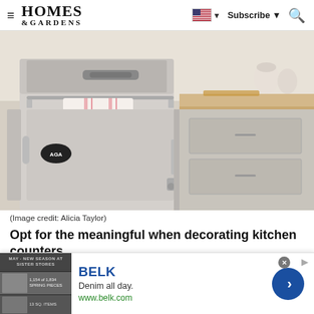Homes & Gardens — Subscribe | Search
[Figure (photo): Close-up photo of a cream-colored AGA range cooker with a white and pink striped tea towel hanging from the oven bar handle, with kitchen cabinetry and countertop visible in the background.]
(Image credit: Alicia Taylor)
Opt for the meaningful when decorating kitchen counters.
'Focus on creating precious moments using wares that yo
[Figure (screenshot): Advertisement banner for BELK featuring 'Denim all day.' tagline and www.belk.com URL, with fashion photos on the left and a blue arrow button on the right.]